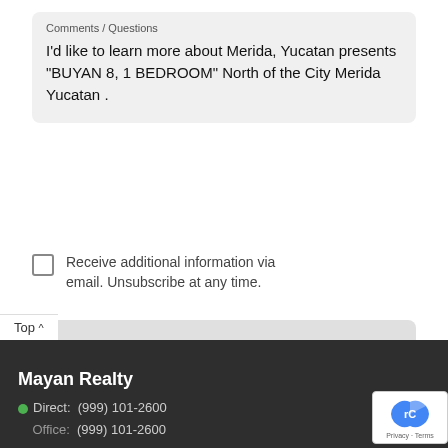Comments / Questions
I'd like to learn more about Merida, Yucatan presents "BUYAN 8, 1 BEDROOM" North of the City Merida Yucatan .
Receive additional information via email. Unsubscribe at any time.
Send Message
[Figure (screenshot): Google Translate Select Language bar with G logo]
[Figure (illustration): Green circular email/message icon button]
Mayan Realty
Direct: (999) 101-2600
Office: (999) 101-2600
[Figure (logo): reCAPTCHA Privacy - Terms badge]
Top ^